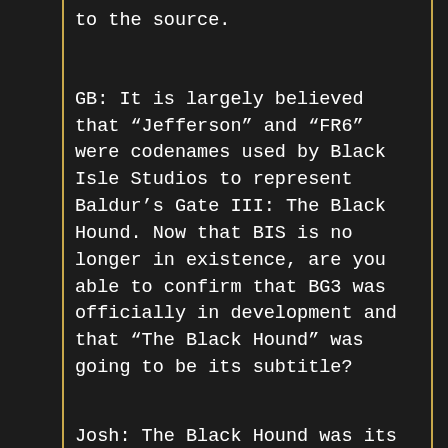to the source.
GB: It is largely believed that “Jefferson” and “FR6” were codenames used by Black Isle Studios to represent Baldur’s Gate III: The Black Hound. Now that BIS is no longer in existence, are you able to confirm that BG3 was officially in development and that “The Black Hound” was going to be its subtitle?
Josh: The Black Hound was its working title when we stopped, with the “BG3” added on at the front because Interplay could only make PC D&D games with the names Baldur’s Gate and Icewind Dale in the title. It actually had nothing to do with the Baldur’s Gate series.